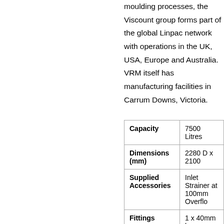moulding processes, the Viscount group forms part of the global Linpac network with operations in the UK, USA, Europe and Australia. VRM itself has manufacturing facilities in Carrum Downs, Victoria.
|  |  |
| --- | --- |
| Capacity | 7500 Litres |
| Dimensions (mm) | 2280 D x 2100 |
| Supplied Accessories | Inlet Strainer at 100mm Overflo... |
| Fittings | 1 x 40mm bras... |
| Water Tank Colour | Armour Grey, B... Grey / Dune, Bl... |